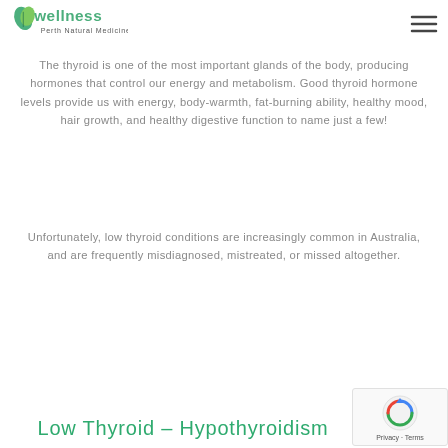Wellness Perth Natural Medicine
The thyroid is one of the most important glands of the body, producing hormones that control our energy and metabolism. Good thyroid hormone levels provide us with energy, body-warmth, fat-burning ability, healthy mood, hair growth, and healthy digestive function to name just a few!
Unfortunately, low thyroid conditions are increasingly common in Australia, and are frequently misdiagnosed, mistreated, or missed altogether.
Low Thyroid – Hypothyroidism